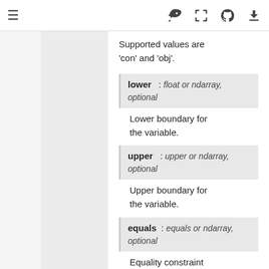≡  🚀  [ ]  GitHub  ⬇
Supported values are 'con' and 'obj'.
lower : float or ndarray, optional
Lower boundary for the variable.
upper : upper or ndarray, optional
Upper boundary for the variable.
equals : equals or ndarray, optional
Equality constraint value for the variable.